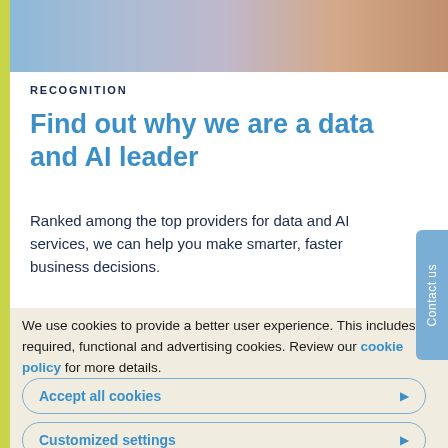[Figure (photo): Photo strip at top showing people working with laptops and documents in an office setting]
RECOGNITION
Find out why we are a data and AI leader
Ranked among the top providers for data and AI services, we can help you make smarter, faster business decisions.
We use cookies to provide a better user experience. This includes required, functional and advertising cookies. Review our cookie policy for more details.
Accept all cookies
Customized settings